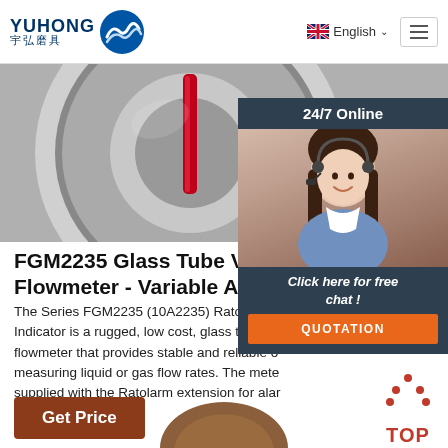YUHONG 宇弘磨具 — English navigation header
[Figure (photo): Partial view of a circular glass tube flowmeter with a red indicator tube, dark background]
[Figure (photo): 24/7 Online customer support agent — woman with headset smiling, with 'Click here for free chat!' and QUOTATION button overlay on dark panel]
FGM2235 Glass Tube Variable Area Flowmeter - Variable Area ...
The Series FGM2235 (10A2235) Ratosight Flow Indicator is a rugged, low cost, glass tube variable area flowmeter that provides stable and reliable output for measuring liquid or gas flow rates. The meter can be supplied with the Ratolarm extension for alar...
[Figure (other): Get Price brown button]
[Figure (other): TOP navigation button with red dots arrow icon]
[Figure (photo): Bottom partial view of a brown/copper flowmeter product]